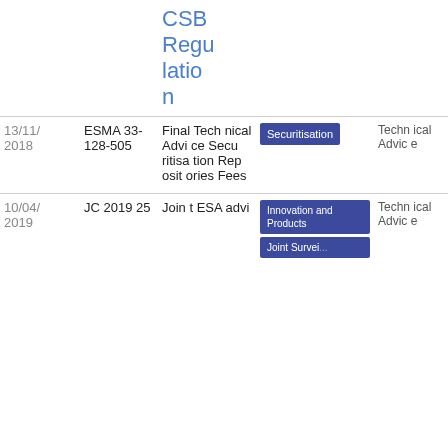| Date | Reference | Title | Tag | Type | Download |
| --- | --- | --- | --- | --- | --- |
|  |  | CSB Regulation |  |  |  |
| 13/11/2018 | ESMA 33-128-505 | Final Technical Advice Securitisation Repositories Fees | Securitisation | Technical Advice | PDF 570.74 KB |
| 10/04/2019 | JC 2019 25 | Joint ESA advi... | Innovation and Products / Joint ... | Technical Advice | PDF 785.49 |